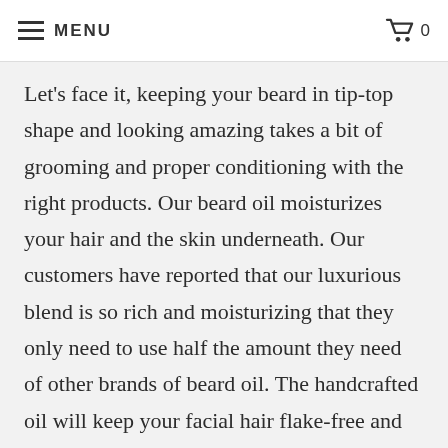MENU  0
Let's face it, keeping your beard in tip-top shape and looking amazing takes a bit of grooming and proper conditioning with the right products. Our beard oil moisturizes your hair and the skin underneath. Our customers have reported that our luxurious blend is so rich and moisturizing that they only need to use half the amount they need of other brands of beard oil. The handcrafted oil will keep your facial hair flake-free and smelling fresh. Our beard conditioner balm is a unique moisturizer. Your skin is moisturized by shea butter and coconut oil and protected by beeswax. Our conditioning balm provides moisture and softness to your beard.